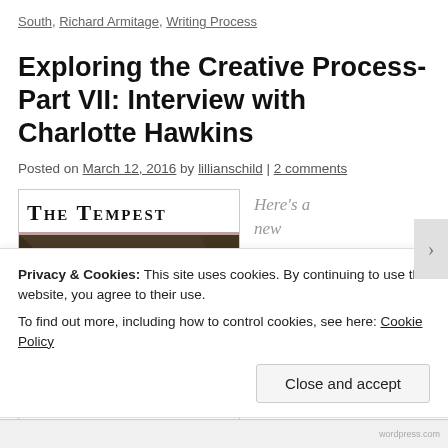South, Richard Armitage, Writing Process
Exploring the Creative Process-Part VII: Interview with Charlotte Hawkins
Posted on March 12, 2016 by lillianschild | 2 comments
[Figure (photo): Book cover for The Tempest with classical painting image below the title]
Here's a new
Privacy & Cookies: This site uses cookies. By continuing to use this website, you agree to their use.
To find out more, including how to control cookies, see here: Cookie Policy
Close and accept